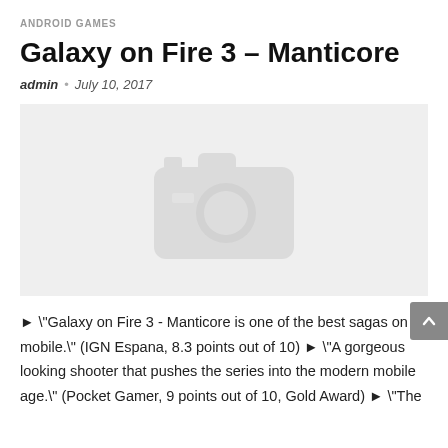ANDROID GAMES
Galaxy on Fire 3 – Manticore
admin  •  July 10, 2017
[Figure (photo): Image placeholder with camera icon on light grey background]
► "Galaxy on Fire 3 - Manticore is one of the best sagas on mobile." (IGN Espana, 8.3 points out of 10) ► "A gorgeous looking shooter that pushes the series into the modern mobile age." (Pocket Gamer, 9 points out of 10, Gold Award) ► "The